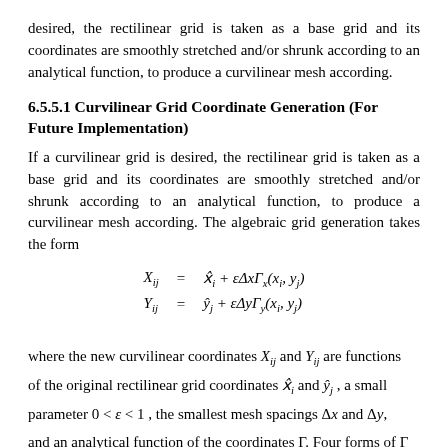desired, the rectilinear grid is taken as a base grid and its coordinates are smoothly stretched and/or shrunk according to an analytical function, to produce a curvilinear mesh according.
6.5.5.1 Curvilinear Grid Coordinate Generation (For Future Implementation)
If a curvilinear grid is desired, the rectilinear grid is taken as a base grid and its coordinates are smoothly stretched and/or shrunk according to an analytical function, to produce a curvilinear mesh according. The algebraic grid generation takes the form
where the new curvilinear coordinates X_{ij} and Y_{ij} are functions of the original rectilinear grid coordinates x̂_i and ŷ_j, a small parameter 0 < ε < 1, the smallest mesh spacings Δx and Δy, and an analytical function of the coordinates Γ. Four forms of Γ